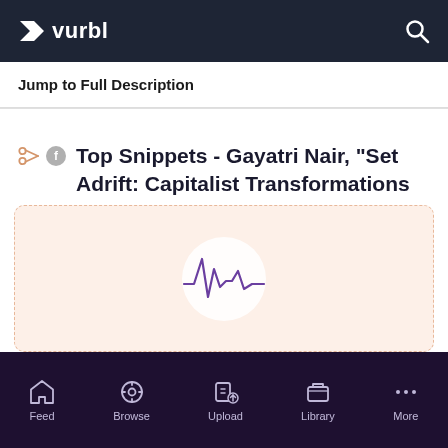vurbl
Jump to Full Description
Top Snippets - Gayatri Nair, "Set Adrift: Capitalist Transformations and Community Politics Along Mumbai's Shores" (Oxford UP, 2021)
[Figure (other): Audio player card with waveform icon on peach/cream background]
Feed  Browse  Upload  Library  More